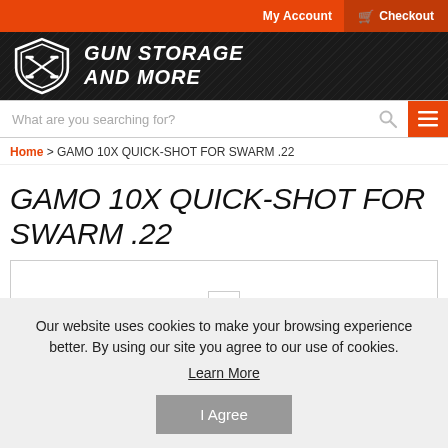My Account  Checkout
[Figure (logo): Gun Storage And More logo — white shield with crossed guns and italic bold text GUN STORAGE AND MORE on dark background]
What are you searching for?
Home > GAMO 10X QUICK-SHOT FOR SWARM .22
GAMO 10X QUICK-SHOT FOR SWARM .22
Our website uses cookies to make your browsing experience better. By using our site you agree to our use of cookies.
Learn More
I Agree